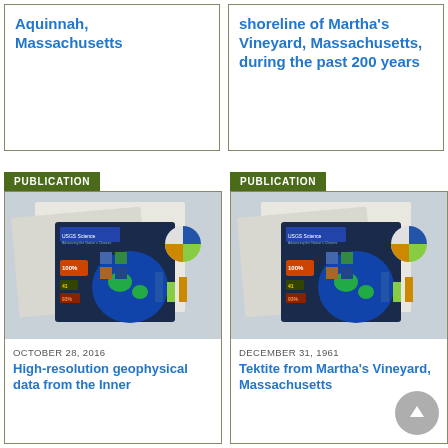Aquinnah, Massachusetts
shoreline of Martha's Vineyard, Massachusetts, during the past 200 years
PUBLICATION
[Figure (photo): USGS Science publication brochures and reports spread out on a surface, showing charts and globe imagery]
OCTOBER 28, 2016
High-resolution geophysical data from the Inner
PUBLICATION
[Figure (photo): USGS Science publication brochures and reports spread out on a surface, showing charts and globe imagery (duplicate)]
DECEMBER 31, 1961
Tektite from Martha's Vineyard, Massachusetts